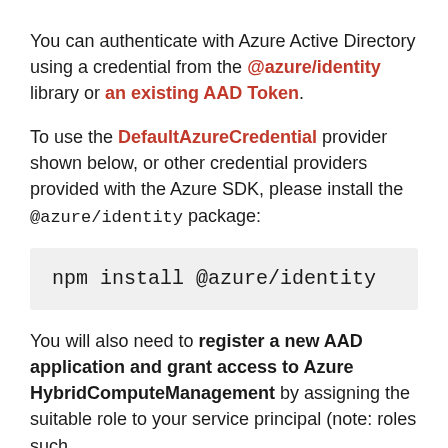You can authenticate with Azure Active Directory using a credential from the @azure/identity library or an existing AAD Token.
To use the DefaultAzureCredential provider shown below, or other credential providers provided with the Azure SDK, please install the @azure/identity package:
npm install @azure/identity
You will also need to register a new AAD application and grant access to Azure HybridComputeManagement by assigning the suitable role to your service principal (note: roles such